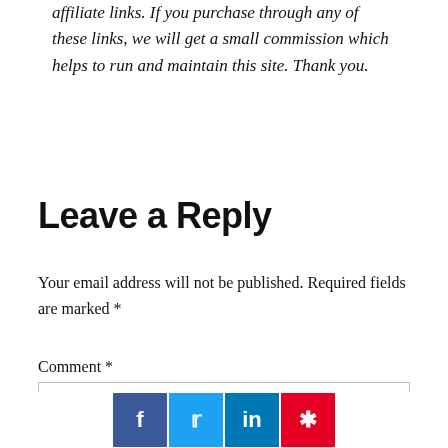affiliate links. If you purchase through any of these links, we will get a small commission which helps to run and maintain this site. Thank you.
Leave a Reply
Your email address will not be published. Required fields are marked *
Comment *
[Figure (other): Social media share buttons: Facebook (blue), Twitter (light blue), LinkedIn (dark blue), Pinterest (red)]